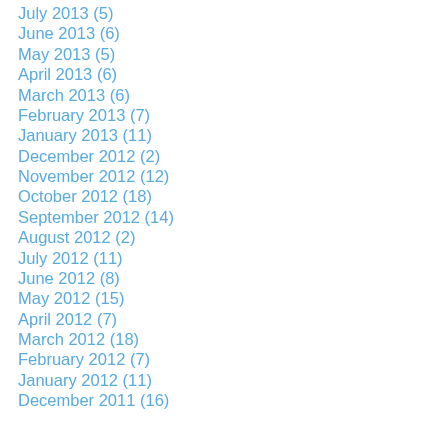July 2013 (5)
June 2013 (6)
May 2013 (5)
April 2013 (6)
March 2013 (6)
February 2013 (7)
January 2013 (11)
December 2012 (2)
November 2012 (12)
October 2012 (18)
September 2012 (14)
August 2012 (2)
July 2012 (11)
June 2012 (8)
May 2012 (15)
April 2012 (7)
March 2012 (18)
February 2012 (7)
January 2012 (11)
December 2011 (16)